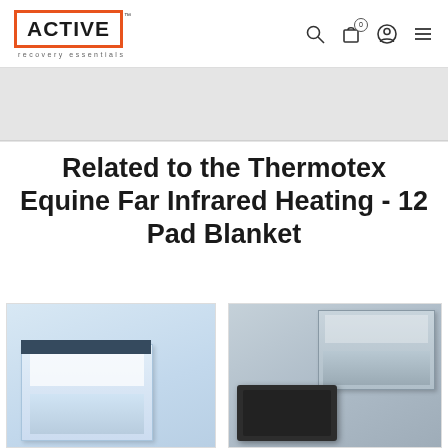ACTIVE recovery essentials — navigation header with search, cart, user, and menu icons
Related to the Thermotex Equine Far Infrared Heating - 12 Pad Blanket
[Figure (photo): Product photo left — heating pad product in packaging box, light blue/white tones]
[Figure (photo): Product photo right — heating pad product in box with dark pad visible, gray tones]